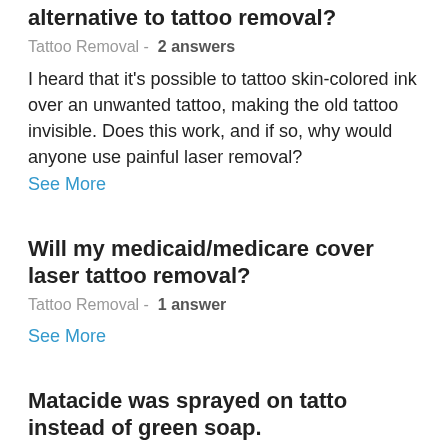alternative to tattoo removal?
Tattoo Removal -  2 answers
I heard that it's possible to tattoo skin-colored ink over an unwanted tattoo, making the old tattoo invisible. Does this work, and if so, why would anyone use painful laser removal?
See More
Will my medicaid/medicare cover laser tattoo removal?
Tattoo Removal -  1 answer
See More
Matacide was sprayed on tatto instead of green soap.
Tattoo Removal -  2 answers